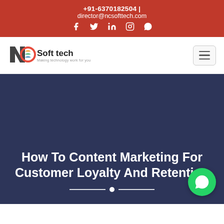+91-6370182504 | director@ncsofttech.com
[Figure (logo): NC Soft tech logo with tagline 'Making technology work for you' and navigation hamburger menu]
How To Content Marketing For Customer Loyalty And Retention